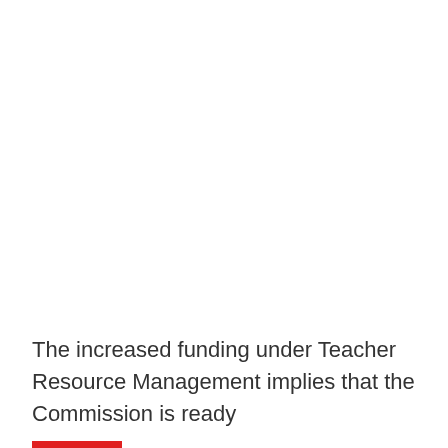The increased funding under Teacher Resource Management implies that the Commission is ready